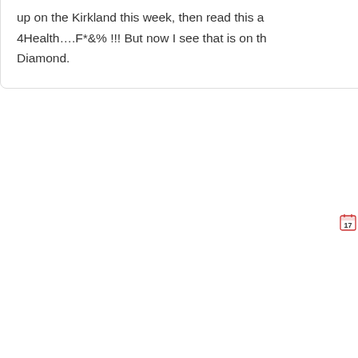up on the Kirkland this week, then read this a 4Health….F*&% !!! But now I see that is on th Diamond.
Jessica says: Dr. Marie, I have 3 cattle dogs. They have been on Kirkl last bag purchased we have had vommitting checking the bags for dates. I usually pitch th rubbermaid tote. I feed Lamb & Rice (Green
Tim says: